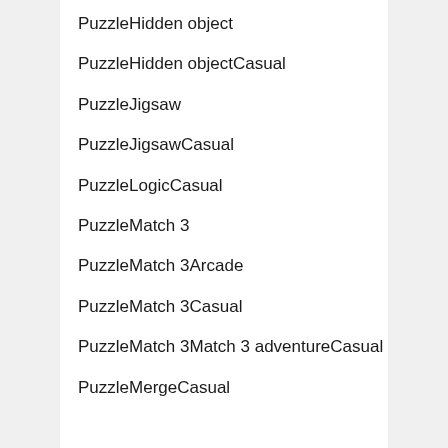PuzzleHidden object
PuzzleHidden objectCasual
PuzzleJigsaw
PuzzleJigsawCasual
PuzzleLogicCasual
PuzzleMatch 3
PuzzleMatch 3Arcade
PuzzleMatch 3Casual
PuzzleMatch 3Match 3 adventureCasual
PuzzleMergeCasual